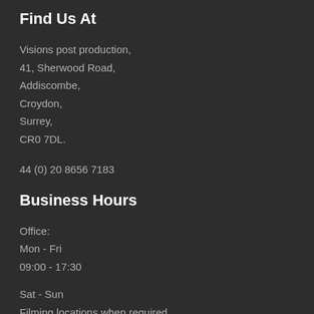Find Us At
Visions post production,
41, Sherwood Road,
Addiscombe,
Croydon,
Surrey,
CR0 7DL.
44 (0) 20 8656 7183
Business Hours
Office:
Mon - Fri
09:00 - 17:30
Sat - Sun
Filming locations when required.